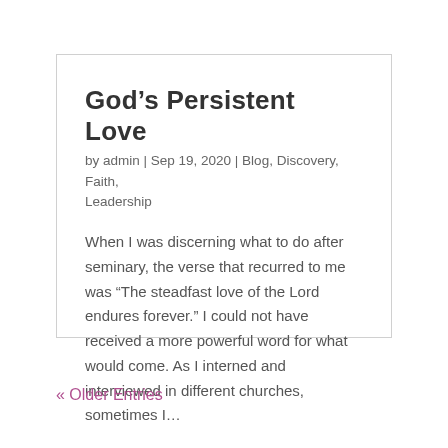God's Persistent Love
by admin | Sep 19, 2020 | Blog, Discovery, Faith, Leadership
When I was discerning what to do after seminary, the verse that recurred to me was “The steadfast love of the Lord endures forever.” I could not have received a more powerful word for what would come. As I interned and interviewed in different churches, sometimes I…
« Older Entries